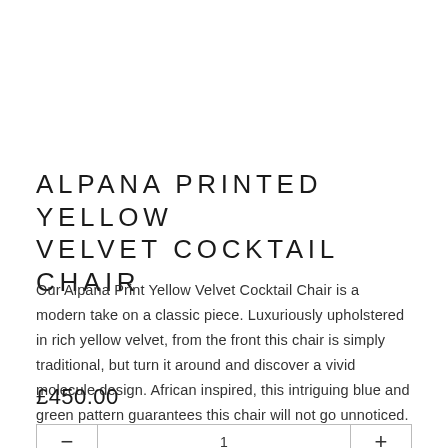ALPANA PRINTED YELLOW VELVET COCKTAIL CHAIR
Our Alpana Print Yellow Velvet Cocktail Chair is a modern take on a classic piece. Luxuriously upholstered in rich yellow velvet, from the front this chair is simply traditional, but turn it around and discover a vivid molecule design. African inspired, this intriguing blue and green pattern guarantees this chair will not go unnoticed.
£450.00